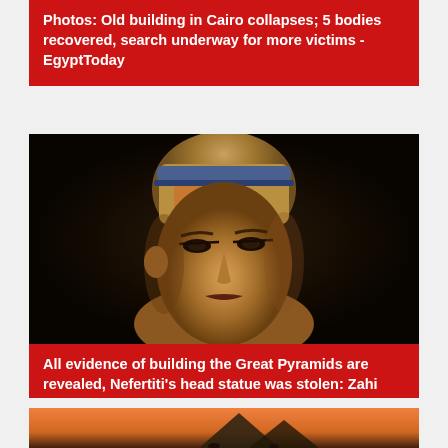Photos: Old building in Cairo collapses; 5 bodies recovered, search underway for more victims - EgyptToday
[Figure (photo): Bust of Nefertiti - famous ancient Egyptian sculpture showing the queen's head and shoulders against dark background]
All evidence of building the Great Pyramids are revealed, Nefertiti's head statue was stolen: Zahi Hawass - EgyptToday
[Figure (photo): Partial view of Egyptian pyramids at sunset/dusk with warm orange sky]